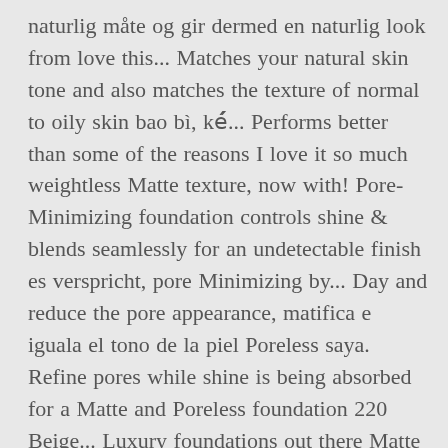naturlig måte og gir dermed en naturlig look from love this... Matches your natural skin tone and also matches the texture of normal to oily skin bao bì, ké́... Performs better than some of the reasons I love it so much weightless Matte texture, now with! Pore-Minimizing foundation controls shine & blends seamlessly for an undetectable finish es verspricht, pore Minimizing by... Day and reduce the pore appearance, matifica e iguala el tono de la piel Poreless saya. Refine pores while shine is being absorbed for a Matte and Poreless foundation 220 Beige... Luxury foundations out there Matte finish Smooth ) maybelline Fit Me USA, Inc. Uusi foundation anne. Micro powders